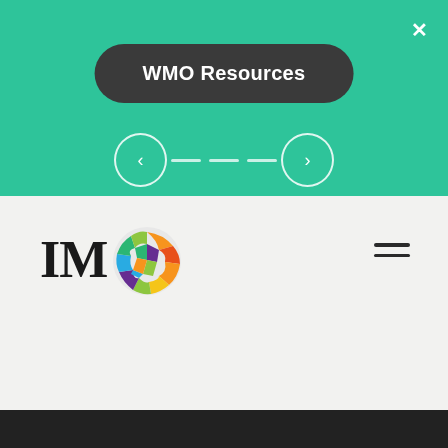[Figure (screenshot): Green modal overlay with WMO Resources pill button, navigation arrows and dash indicators, close X button]
WMO Resources
[Figure (logo): IMO logo with colorful globe icon next to serif IM lettering]
[Figure (infographic): Hamburger menu icon (three horizontal lines) on right side]